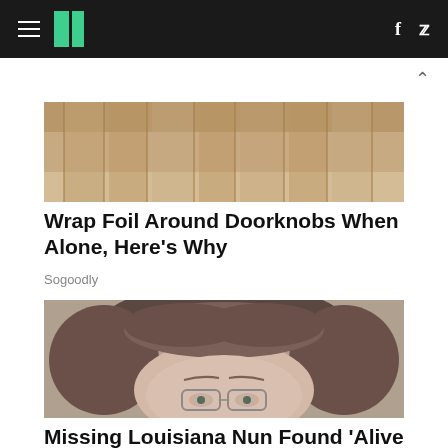HuffPost navigation with hamburger menu, logo, facebook and twitter icons
[Figure (photo): Close-up photo of wooden doorknobs or door hardware with warm tan/brown tones]
Wrap Foil Around Doorknobs When Alone, Here's Why
Sogoodly
[Figure (photo): Close-up portrait photo of an older woman with short gray-brown hair wearing wire-rimmed glasses]
Missing Louisiana Nun Found 'Alive And